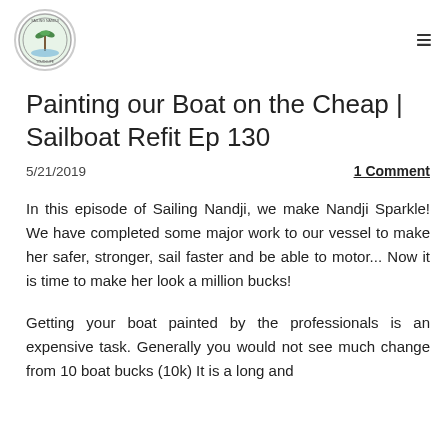Sailing Nandji logo and navigation menu
Painting our Boat on the Cheap | Sailboat Refit Ep 130
5/21/2019
1 Comment
In this episode of Sailing Nandji, we make Nandji Sparkle! We have completed some major work to our vessel to make her safer, stronger, sail faster and be able to motor... Now it is time to make her look a million bucks!
Getting your boat painted by the professionals is an expensive task. Generally you would not see much change from 10 boat bucks (10k) It is a long and